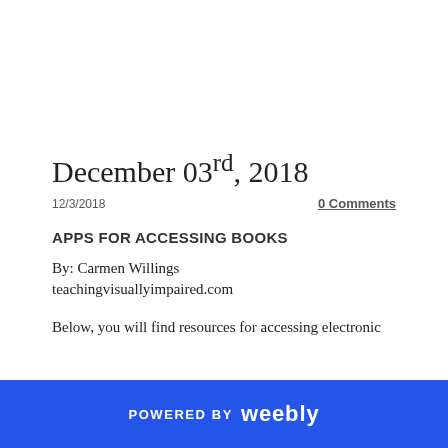December 03rd, 2018
12/3/2018
0 Comments
APPS FOR ACCESSING BOOKS
By: Carmen Willings
teachingvisuallyimpaired.com
Below, you will find resources for accessing electronic
POWERED BY weebly